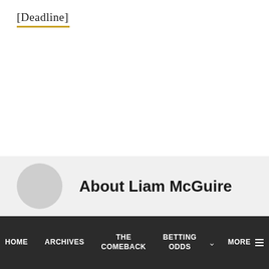[Deadline]
About Liam McGuire
HOME  ARCHIVES  THE COMEBACK  BETTING ODDS  MORE